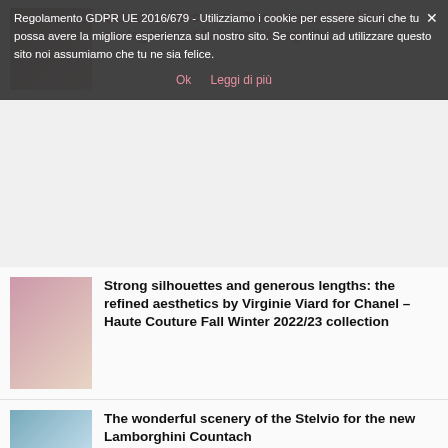Salvatore Piccione – The Venus of Ibid Is the protagonist at Palazzo Ferragiolli
Regolamento GDPR UE 2016/679 - Utilizziamo i cookie per essere sicuri che tu possa avere la migliore esperienza sul nostro sito. Se continui ad utilizzare questo sito noi assumiamo che tu ne sia felice.
Ok   Leggi di più
[Figure (photo): Fashion show image thumbnail]
Strong silhouettes and generous lengths: the refined aesthetics by Virginie Viard for Chanel – Haute Couture Fall Winter 2022/23 collection
[Figure (photo): Lamborghini Countach at Stelvio pass image thumbnail]
The wonderful scenery of the Stelvio for the new Lamborghini Countach
[Figure (photo): Oriental Fashion Show models image thumbnail]
Oriental Fashion Show debuts on Rive Gauche in Paris
[Figure (photo): Celebrity wearing Chanel image thumbnail]
Celebrities wearing Chanel at the haute couture Fall Winter 2022/23